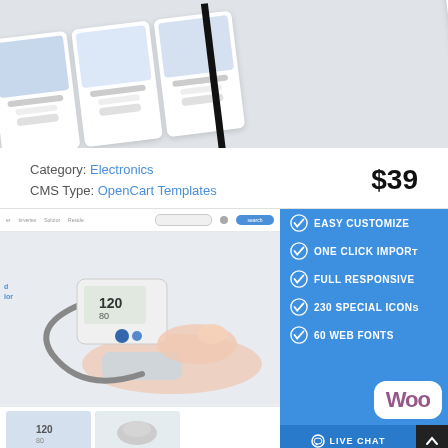[Figure (screenshot): Screenshot of electronics store template showing product cards with devices like tablets, cameras, smartwatches at an angle]
Category: Electronics
CMS Type: OpenCart Templates
$39
[Figure (screenshot): Left panel showing a medical ecommerce website template with a blood pressure monitor product image and navigation bar. Right blue panel showing features: EASY CUSTOMIZE, ONE CLICK IMPORT, FULL RESPONSIVE, 230 SPECIAL ICONS, 60 WEB FONTS, WooCommerce logo, LIVE CHAT button]